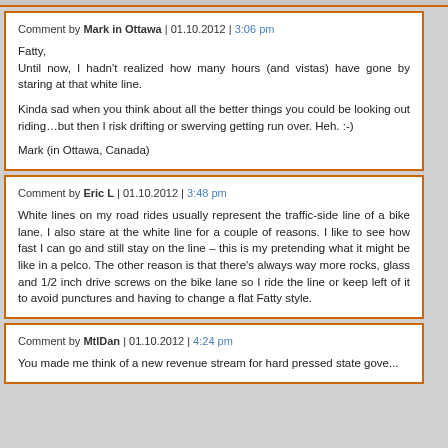Comment by Mark in Ottawa | 01.10.2012 | 3:06 pm
Fatty,
Until now, I hadn't realized how many hours (and vistas) have gone by staring at that white line.

Kinda sad when you think about all the better things you could be looking out riding…but then I risk drifting or swerving getting run over. Heh. :-)

Mark (in Ottawa, Canada)
Comment by Eric L | 01.10.2012 | 3:48 pm
White lines on my road rides usually represent the traffic-side line of a bike lane. I also stare at the white line for a couple of reasons. I like to see how fast I can go and still stay on the line – this is my pretending what it might be like in a pelco. The other reason is that there's always way more rocks, glass and 1/2 inch drive screws on the bike lane so I ride the line or keep left of it to avoid punctures and having to change a flat Fatty style.
Comment by MtlDan | 01.10.2012 | 4:24 pm
You made me think of a new revenue stream for hard pressed state gove...